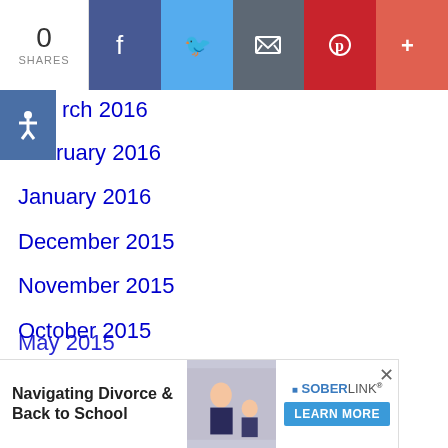[Figure (screenshot): Social share bar with 0 shares count, Facebook, Twitter, Email, Pinterest, and More buttons]
March 2016
February 2016
January 2016
December 2015
November 2015
October 2015
September 2015
August 2015
July 2015
[Figure (screenshot): Advertisement banner: Navigating Divorce & Back to School — SoberLink, Learn More button]
May 2015